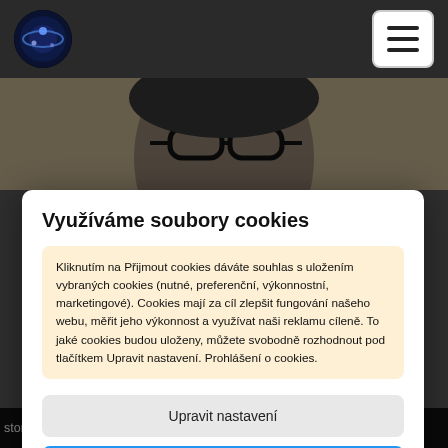[Navigation bar with logo and hamburger menu]
[Figure (screenshot): Partial background image showing a person with glasses, partially obscured by cookie consent modal]
Využíváme soubory cookies
Kliknutím na Přijmout cookies dáváte souhlas s uložením vybraných cookies (nutné, preferenční, výkonnostní, marketingové). Cookies mají za cíl zlepšit fungování našeho webu, měřit jeho výkonnost a využívat naši reklamu cíleně. To jaké cookies budou uloženy, můžete svobodně rozhodnout pod tlačítkem Upravit nastavení. Prohlášení o cookies.
Upravit nastavení
Přijmout cookies
story Revolt to What? as well as Rich English's booze~y book